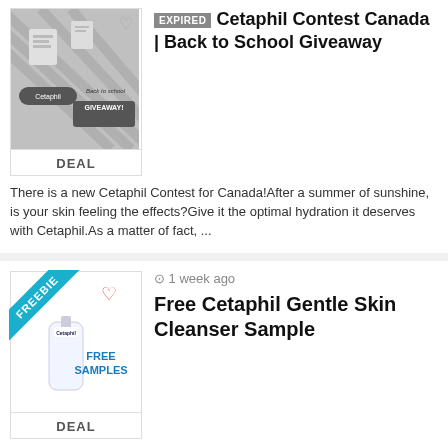EXPIRED Cetaphil Contest Canada | Back to School Giveaway
There is a new Cetaphil Contest for Canada!After a summer of sunshine, is your skin feeling the effects?Give it the optimal hydration it deserves with Cetaphil.As a matter of fact, ...
Free Cetaphil Gentle Skin Cleanser Sample
Get a Free Cetaphil Gentle Skin Cleanser Sample, for a limited time only.Your face is the first thing people notice about you, so put your best face forward with Cetaphil!The new & ...